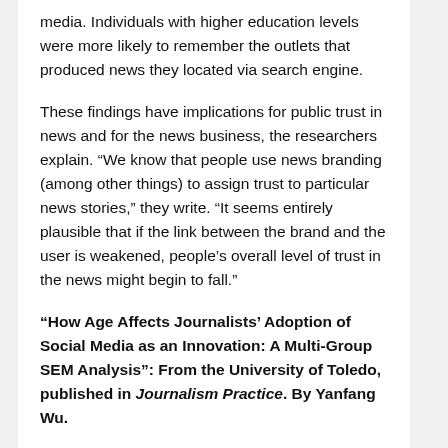media. Individuals with higher education levels were more likely to remember the outlets that produced news they located via search engine.
These findings have implications for public trust in news and for the news business, the researchers explain. “We know that people use news branding (among other things) to assign trust to particular news stories,” they write. “It seems entirely plausible that if the link between the brand and the user is weakened, people’s overall level of trust in the news might begin to fall.”
“How Age Affects Journalists’ Adoption of Social Media as an Innovation: A Multi-Group SEM Analysis”: From the University of Toledo, published in Journalism Practice. By Yanfang Wu.
It’s often assumed that there are differences in how journalists of different age groups feel about using